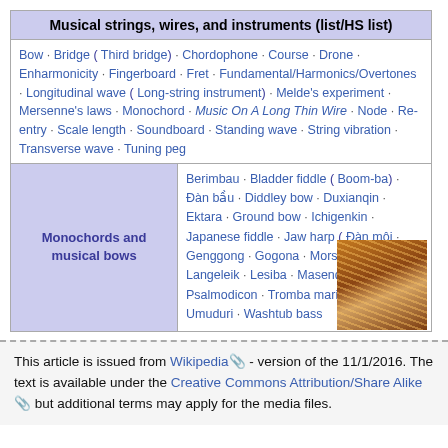Musical strings, wires, and instruments (list/HS list)
Bow · Bridge ( Third bridge) · Chordophone · Course · Drone · Enharmonicity · Fingerboard · Fret · Fundamental/Harmonics/Overtones · Longitudinal wave ( Long-string instrument) · Melde's experiment · Mersenne's laws · Monochord · Music On A Long Thin Wire · Node · Re-entry · Scale length · Soundboard · Standing wave · String vibration · Transverse wave · Tuning peg
[Figure (photo): Close-up photo of musical strings, showing diagonal lines of golden-brown strings or wires]
| Category | Items |
| --- | --- |
| Monochords and musical bows | Berimbau · Bladder fiddle ( Boom-ba) · Đàn bầu · Diddley bow · Duxianqin · Ektara · Ground bow · Ichigenkin · Japanese fiddle · Jaw harp ( Đàn môi · Genggong · Gogona · Morsing · Mukkuri) · Langeleik · Lesiba · Masenqo · Onavillu · Psalmodicon · Tromba marina · Tumbi · Umuduri · Washtub bass |
This article is issued from Wikipedia - version of the 11/1/2016. The text is available under the Creative Commons Attribution/Share Alike but additional terms may apply for the media files.